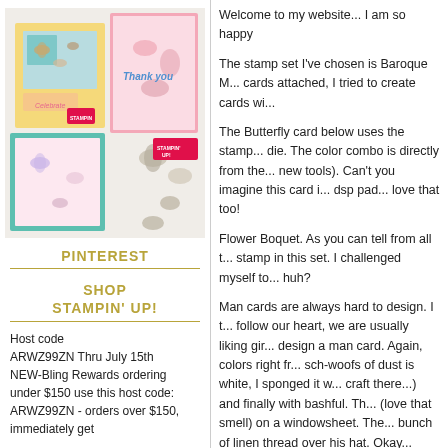[Figure (photo): Photo of handmade butterfly greeting cards arranged on a surface, with Stampin Up branding visible. Cards feature butterfly motifs in yellow, pink, green, and silver/gray color schemes.]
PINTEREST
SHOP
STAMPIN' UP!
Host code
ARWZ99ZN Thru July 15th
NEW-Bling Rewards ordering under $150 use this host code: ARWZ99ZN - orders over $150, immediately get
Welcome to my website... I am so happy
The stamp set I've chosen is Baroque M... cards attached, I tried to create cards wi...
The Butterfly card below uses the stamp... die. The color combo is directly from the... new tools). Can't you imagine this card i... dsp pad... love that too!
Flower Boquet. As you can tell from all t... stamp in this set. I challenged myself to... huh?
Man cards are always hard to design. I t... follow our heart, we are usually liking gir... design a man card. Again, colors right fr... sch-woofs of dust is white, I sponged it w... craft there...) and finally with bashful. Th... (love that smell) on a windowsheet. The... bunch of linen thread over his hat. Okay... favorite!